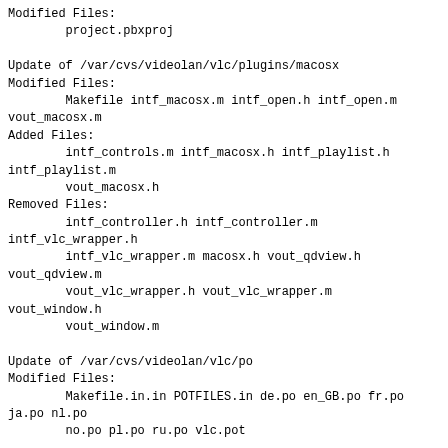Modified Files:
        project.pbxproj

Update of /var/cvs/videolan/vlc/plugins/macosx
Modified Files:
        Makefile intf_macosx.m intf_open.h intf_open.m
vout_macosx.m
Added Files:
        intf_controls.m intf_macosx.h intf_playlist.h
intf_playlist.m
        vout_macosx.h
Removed Files:
        intf_controller.h intf_controller.m
intf_vlc_wrapper.h
        intf_vlc_wrapper.m macosx.h vout_qdview.h
vout_qdview.m
        vout_vlc_wrapper.h vout_vlc_wrapper.m
vout_window.h
        vout_window.m

Update of /var/cvs/videolan/vlc/po
Modified Files:
        Makefile.in.in POTFILES.in de.po en_GB.po fr.po
ja.po nl.po
        no.po pl.po ru.po vlc.pot

Log Message:
  * MacOS X changes:
    - added messages and playlist panel
    - simple dock menu (play, pause, stop)
      - lots more things